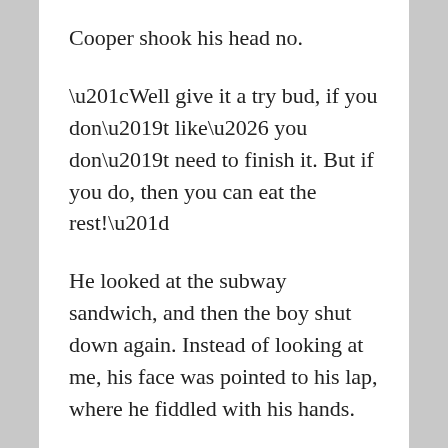Cooper shook his head no.
“Well give it a try bud, if you don’t like… you don’t need to finish it. But if you do, then you can eat the rest!”
He looked at the subway sandwich, and then the boy shut down again. Instead of looking at me, his face was pointed to his lap, where he fiddled with his hands.
“Cooper.”
“ ”
…